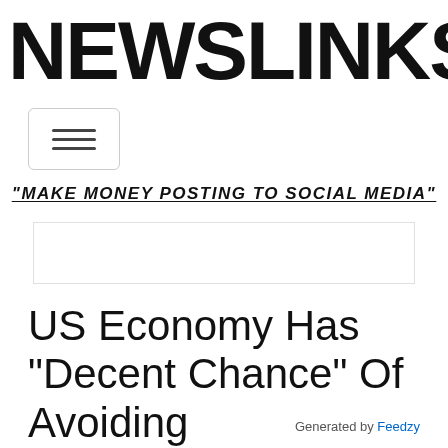NEWSLINKS.NET
[Figure (infographic): Hamburger menu navigation button with three horizontal lines, inside a rounded rectangle border]
"MAKE MONEY POSTING TO SOCIAL MEDIA"
[Figure (other): Empty white advertisement placeholder box with light border]
US Economy Has “Decent Chance” Of Avoiding
Generated by Feedzy